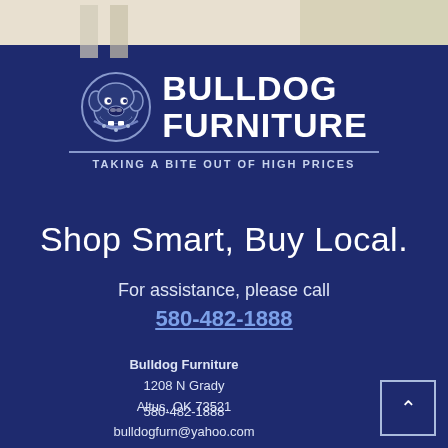[Figure (photo): Partial interior room photo showing light-colored walls and cabinetry at top of page]
[Figure (logo): Bulldog Furniture logo with bulldog mascot icon and brand name BULLDOG FURNITURE]
TAKING A BITE OUT OF HIGH PRICES
Shop Smart, Buy Local.
For assistance, please call
580-482-1888
Bulldog Furniture
1208 N Grady
Altus, OK 73521
580-482-1888
bulldogfurn@yahoo.com